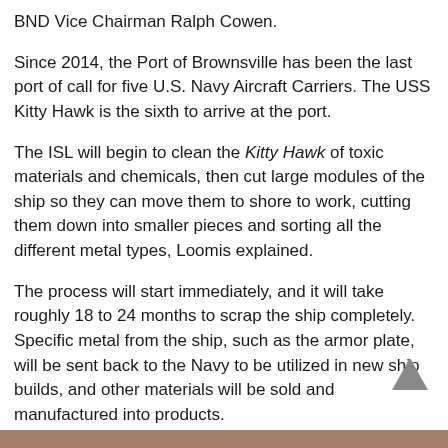BND Vice Chairman Ralph Cowen.
Since 2014, the Port of Brownsville has been the last port of call for five U.S. Navy Aircraft Carriers. The USS Kitty Hawk is the sixth to arrive at the port.
The ISL will begin to clean the Kitty Hawk of toxic materials and chemicals, then cut large modules of the ship so they can move them to shore to work, cutting them down into smaller pieces and sorting all the different metal types, Loomis explained.
The process will start immediately, and it will take roughly 18 to 24 months to scrap the ship completely. Specific metal from the ship, such as the armor plate, will be sent back to the Navy to be utilized in new ship builds, and other materials will be sold and manufactured into products.